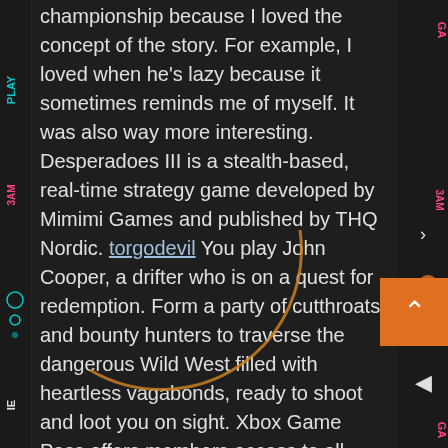championship because I loved the concept of the story. For example, I loved when he's lazy because it sometimes reminds me of myself. It was also way more interesting. Desperadoes III is a stealth-based, real-time strategy game developed by Mimimi Games and published by THQ Nordic. torgodevil You play John Cooper, a drifter who is on a quest for redemption. Form a party of cutthroats and bounty hunters to traverse the dangerous Wild West filled with heartless vagabonds, ready to shoot and loot you on sight. Xbox Game Pass offers members access to all games offered in the current library. Please check the individual game detail pages to confirm if your machine specifications and available storage meet the minimum requirements set forth by the developer.
Gamersaloon works as a third-party facilitator to help you organize the chosen competition and online